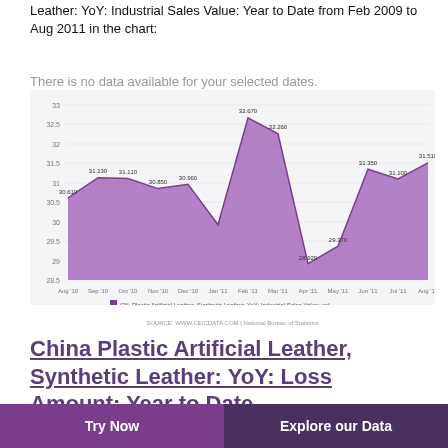Leather: YoY: Industrial Sales Value: Year to Date from Feb 2009 to Aug 2011 in the chart:
There is no data available for your selected dates.
[Figure (area-chart): CN: Plastic Artificial Leather, Synthetic Leather: YoY: Industrial Sales Value: ytd]
China Plastic Artificial Leather, Synthetic Leather: YoY: Loss Amount: Year to Date
Try Now   Explore our Data